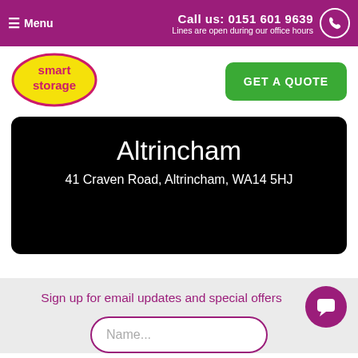Menu | Call us: 0151 601 9639 | Lines are open during our office hours
[Figure (logo): Smart Storage logo — yellow oval with pink border, white text reading 'smart storage']
GET A QUOTE
Altrincham
41 Craven Road, Altrincham, WA14 5HJ
Sign up for email updates and special offers
Name...